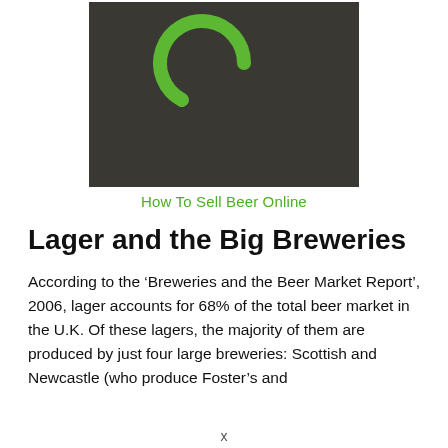[Figure (logo): Dark background rectangular image with a green arc/spinner-like logo symbol centered on it]
How To Sell Beer Online
Lager and the Big Breweries
According to the ‘Breweries and the Beer Market Report’, 2006, lager accounts for 68% of the total beer market in the U.K. Of these lagers, the majority of them are produced by just four large breweries: Scottish and Newcastle (who produce Foster’s and